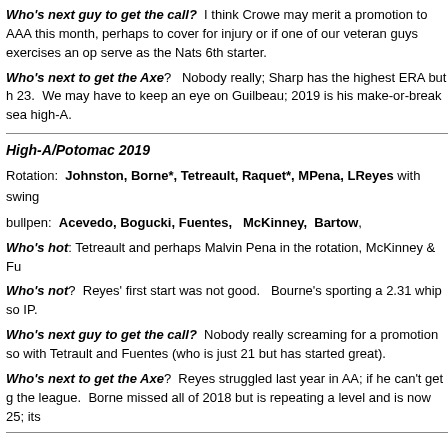Who's next guy to get the call? I think Crowe may merit a promotion to AAA this month, perhaps to cover for injury or if one of our veteran guys exercises an option to serve as the Nats 6th starter.
Who's next to get the Axe? Nobody really; Sharp has the highest ERA but he is only 23. We may have to keep an eye on Guilbeau; 2019 is his make-or-break season for high-A.
High-A/Potomac 2019
Rotation: Johnston, Borne*, Tetreault, Raquet*, MPena, LReyes with swing
bullpen: Acevedo, Bogucki, Fuentes, McKinney, Bartow,
Who's hot: Tetreault and perhaps Malvin Pena in the rotation, McKinney & Fu
Who's not? Reyes' first start was not good. Bourne's sporting a 2.31 whip so IP.
Who's next guy to get the call? Nobody really screaming for a promotion so with Tetrault and Fuentes (who is just 21 but has started great).
Who's next to get the Axe? Reyes struggled last year in AA; if he can't get going the league. Borne missed all of 2018 but is repeating a level and is now 25; its